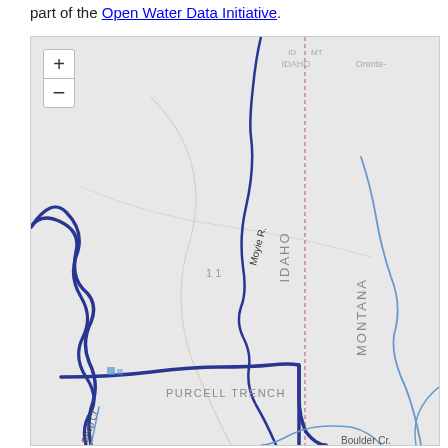part of the Open Water Data Initiative.
[Figure (map): Interactive map showing rivers and state boundaries in the Idaho/Montana border region, including Moyie R., Purcell Trench, Deep Cr., Boulder Cr., and state labels IDAHO and MONTANA with a dotted state border line. Map includes zoom in (+) and zoom out (-) controls.]